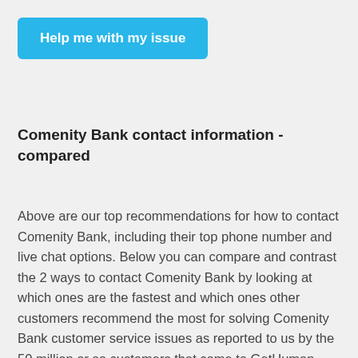[Figure (other): Blue button with white bold text reading 'Help me with my issue']
Comenity Bank contact information - compared
Above are our top recommendations for how to contact Comenity Bank, including their top phone number and live chat options. Below you can compare and contrast the 2 ways to contact Comenity Bank by looking at which ones are the fastest and which ones other customers recommend the most for solving Comenity Bank customer service issues as reported to us by the 50 million or so customers that come to GetHuman each year and